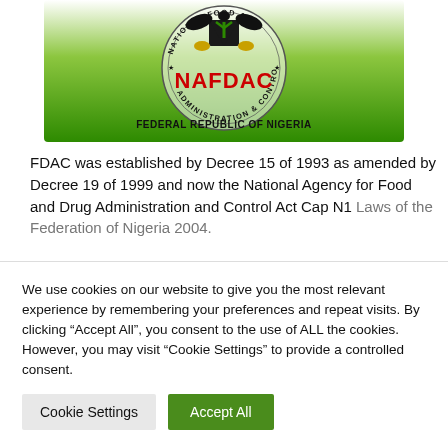[Figure (logo): NAFDAC logo — circular seal with Nigerian coat of arms, text 'NAFDAC' in red, 'ADMINISTRATION & CONTROL' and 'NATIONAL FOOD & DRUG' around the ring, 'FEDERAL REPUBLIC OF NIGERIA' below, green gradient background]
FDAC was established by Decree 15 of 1993 as amended by Decree 19 of 1999 and now the National Agency for Food and Drug Administration and Control Act Cap N1 Laws of the Federation of Nigeria 2004.
We use cookies on our website to give you the most relevant experience by remembering your preferences and repeat visits. By clicking “Accept All”, you consent to the use of ALL the cookies. However, you may visit "Cookie Settings" to provide a controlled consent.